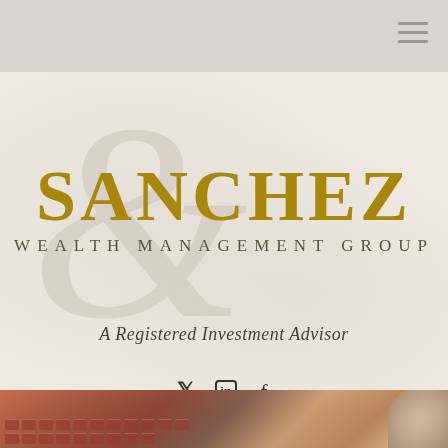SANCHEZ
WEALTH MANAGEMENT GROUP
A Registered Investment Advisor
Twitter LinkedIn Facebook
9042819261
[Figure (photo): Bottom strip showing a red/burgundy keyboard and wooden surface, partially visible at the bottom of the page.]